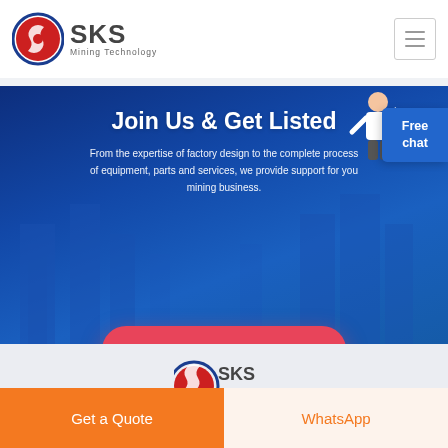[Figure (logo): SKS Mining Technology logo with red and blue circular emblem and company name]
Join Us & Get Listed
From the expertise of factory design to the complete process of equipment, parts and services, we provide support for your mining business.
GET STARTED
Free chat
[Figure (logo): SKS logo at bottom of page (partial)]
Get a Quote
WhatsApp